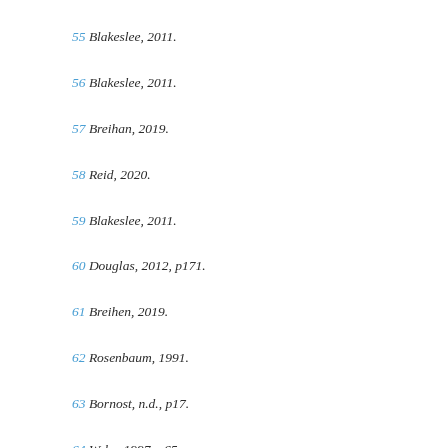55 Blakeslee, 2011.
56 Blakeslee, 2011.
57 Breihan, 2019.
58 Reid, 2020.
59 Blakeslee, 2011.
60 Douglas, 2012, p171.
61 Breihen, 2019.
62 Rosenbaum, 1991.
63 Bornost, n.d., p17.
64 Wyke, 1997, p65.
65 Breihen, 2019.